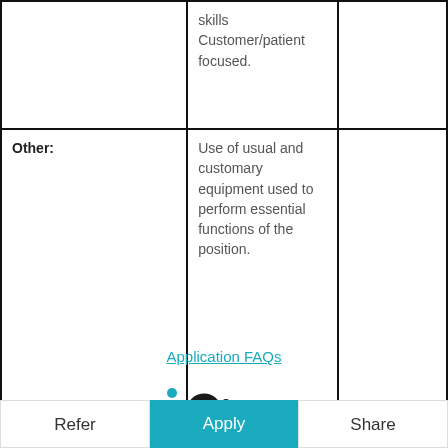|  |  |  |
| --- | --- | --- |
|  | skills Customer/patient focused. |  |
| Other: | Use of usual and customary equipment used to perform essential functions of the position. |  |
Application FAQs
[Figure (logo): iCIMS logo with teal dot above the letter i]
Refer | Apply | Share